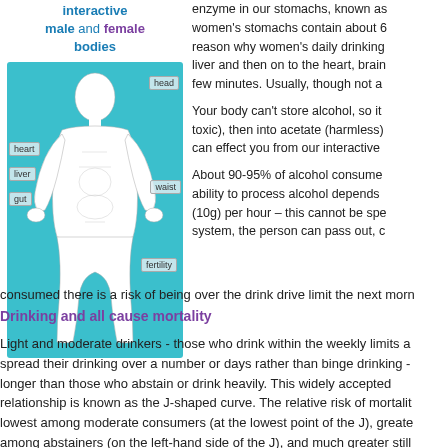interactive male and female bodies
[Figure (illustration): Diagram of a human body outline on a teal/cyan background with labeled body parts: head, heart, liver, gut, waist, fertility]
enzyme in our stomachs, known as women's stomachs contain about 6 reason why women's daily drinking liver and then on to the heart, brain few minutes. Usually, though not a
Your body can't store alcohol, so it toxic), then into acetate (harmless) can effect you from our interactive
About 90-95% of alcohol consumed ability to process alcohol depends (10g) per hour – this cannot be spe system, the person can pass out, c consumed there is a risk of being over the drink drive limit the next morn
Drinking and all cause mortality
Light and moderate drinkers - those who drink within the weekly limits a spread their drinking over a number or days rather than binge drinking - longer than those who abstain or drink heavily. This widely accepted relationship is known as the J-shaped curve. The relative risk of mortali lowest among moderate consumers (at the lowest point of the J), greate among abstainers (on the left-hand side of the J), and much greater still heavy drinkers (on the right-hand side of the J). In addition to longevity i general, the J-shaped relationship also exists for cardiovascular deaths, specifically for coronary heart disease and ischemic stroke. This 'benefit applies to post menopausal women and men over 40, where the risk of attack is higher. In simple terms, alcohol ' thins your blood' and helps re